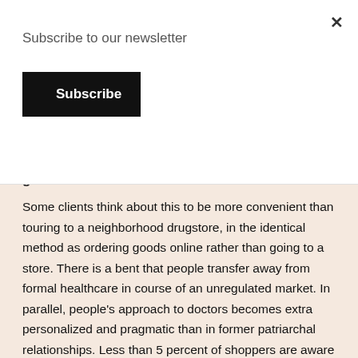Subscribe to our newsletter
Subscribe
g
Some clients think about this to be more convenient than touring to a neighborhood drugstore, in the identical method as ordering goods online rather than going to a store. There is a bent that people transfer away from formal healthcare in course of an unregulated market. In parallel, people's approach to doctors becomes extra personalized and pragmatic than in former patriarchal relationships. Less than 5 percent of shoppers are aware of instruments to assist them find safe on-line pharmacies, in accordance toAlliance for Safe Online Pharmacies. The two pharmacy websites used in this research were